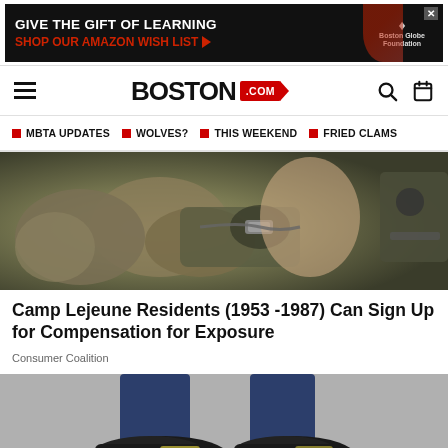[Figure (screenshot): Advertisement banner: 'GIVE THE GIFT OF LEARNING / SHOP OUR AMAZON WISH LIST' with Boston Globe Foundation logo]
BOSTON.com
MBTA UPDATES
WOLVES?
THIS WEEKEND
FRIED CLAMS
[Figure (photo): Close-up photo of a soldier in military gear adjusting helmet chin strap, wearing gloves]
Camp Lejeune Residents (1953 -1987) Can Sign Up for Compensation for Exposure
Consumer Coalition
[Figure (photo): Photo showing person's feet wearing black sneakers with white sole, wearing jeans]